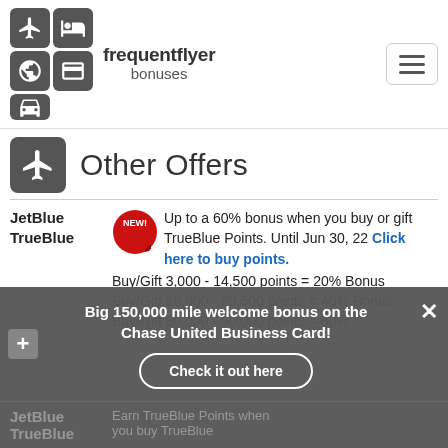[Figure (logo): Frequent Flyer Bonuses logo with grid of travel icons and hamburger menu button]
Other Offers
JetBlue TrueBlue — Up to a 60% bonus when you buy or gift TrueBlue Points. Until Jun 30, 22 Click here to buy points. Buy/Gift 3,000 - 14,500 points = 20% Bonus Buy/Gift 15,000 - 29,500 points = 40% Bonus Buy/Gift 30,000 - 50,000 points = 60%
Big 150,000 mile welcome bonus on the Chase United Business Card! Check it out here